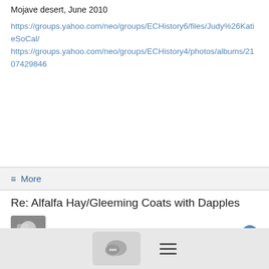Mojave desert, June 2010
https://groups.yahoo.com/neo/groups/ECHistory6/files/Judy%26KatieSoCal/
https://groups.yahoo.com/neo/groups/ECHistory4/photos/albums/2107429846
≡ More
Re: Alfalfa Hay/Gleeming Coats with Dapples
Eleanor Kellon, VMD
3/15/15